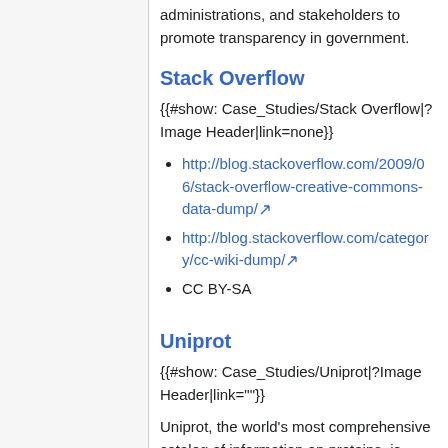administrations, and stakeholders to promote transparency in government.
Stack Overflow
{{#show: Case_Studies/Stack Overflow|?Image Header|link=none}}
http://blog.stackoverflow.com/2009/06/stack-overflow-creative-commons-data-dump/
http://blog.stackoverflow.com/category/cc-wiki-dump/
CC BY-SA
Uniprot
{{#show: Case_Studies/Uniprot|?Image Header|link=""}}
Uniprot, the world's most comprehensive catalog of information on proteins, is